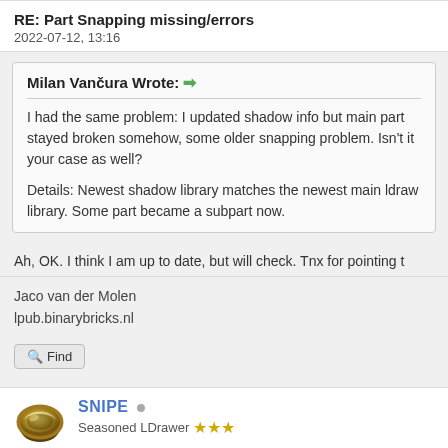RE: Part Snapping missing/errors
2022-07-12, 13:16
Milan Vančura Wrote: ➡
I had the same problem: I updated shadow info but main part stayed broken somehow, some older snapping problem. Isn't it your case as well?

Details: Newest shadow library matches the newest main ldraw library. Some part became a subpart now.
Ah, OK. I think I am up to date, but will check. Tnx for pointing t
Jaco van der Molen
lpub.binarybricks.nl
Find
SNIPE
Seasoned LDrawer ★★★